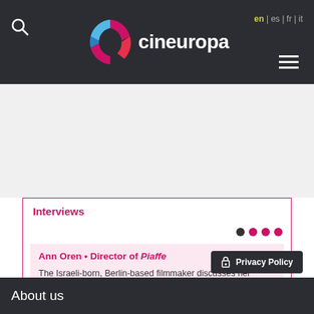cineuropa — en | es | fr | it
Interviews
Ann Oren • Director of Piaffe
The Israeli-born, Berlin-based filmmaker discusses her formally ambitious first feature film
Privacy Policy
About us